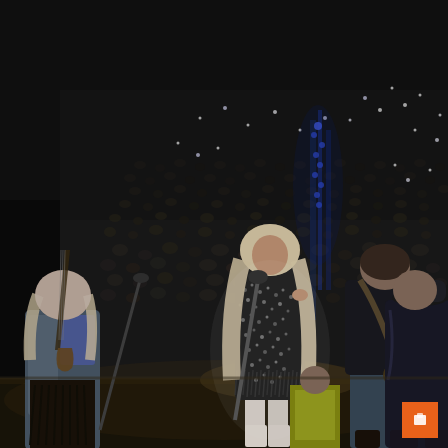[Figure (photo): Concert stage photo showing performers on stage. A woman with long platinum/blonde hair wearing a black sequined outfit and white cowboy boots stands at a microphone stand in the center. To her left is another woman with light hair wearing a denim jacket and fringe skirt, holding a guitar. To her right is a man in a dark jacket holding a guitar, facing away from the camera. On the far right is a person in a dark jacket and cap. A large crowd fills the arena background. Blue stage lighting is visible. A security person in a yellow/green vest is visible at the front of the stage.]